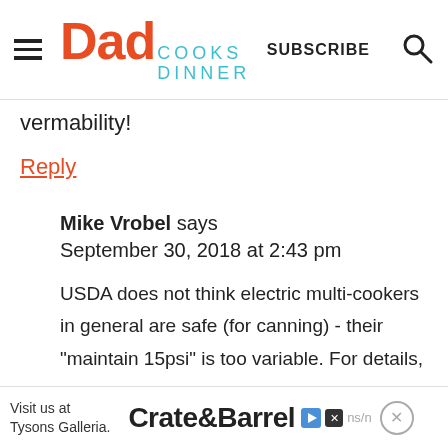Dad Cooks Dinner — SUBSCRIBE
vermability!
Reply
Mike Vrobel says
September 30, 2018 at 2:43 pm
USDA does not think electric multi-cookers in general are safe (for canning) - their "maintain 15psi" is too variable. For details, see:
[Figure (other): Crate & Barrel advertisement banner: Visit us at Tysons Galleria.]